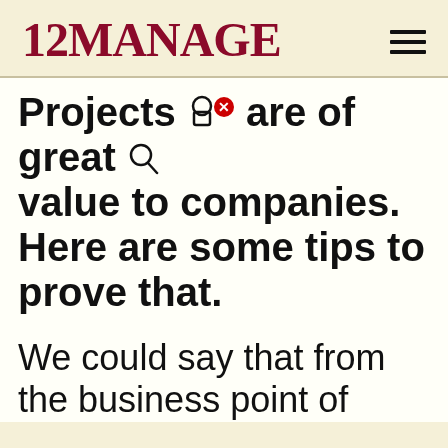12MANAGE
Projects are of great value to companies. Here are some tips to prove that.
We could say that from the business point of